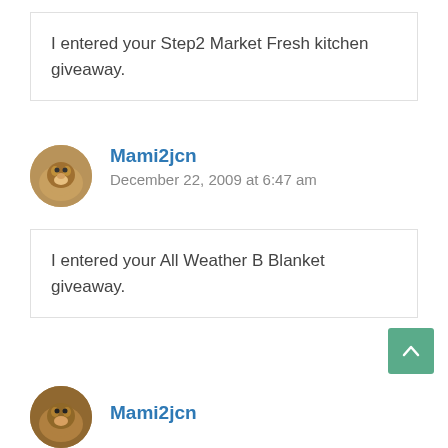I entered your Step2 Market Fresh kitchen giveaway.
Mami2jcn
December 22, 2009 at 6:47 am
I entered your All Weather B Blanket giveaway.
Mami2jcn